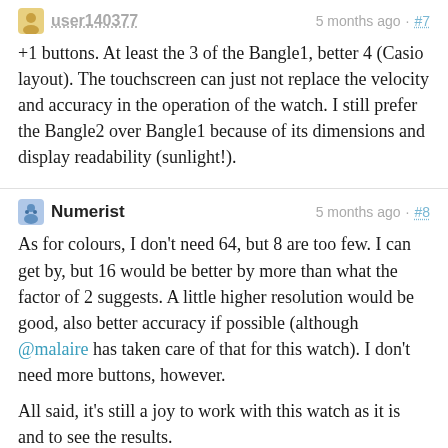user140377   5 months ago · #7
+1 buttons. At least the 3 of the Bangle1, better 4 (Casio layout). The touchscreen can just not replace the velocity and accuracy in the operation of the watch. I still prefer the Bangle2 over Bangle1 because of its dimensions and display readability (sunlight!).
Numerist   5 months ago · #8
As for colours, I don't need 64, but 8 are too few. I can get by, but 16 would be better by more than what the factor of 2 suggests. A little higher resolution would be good, also better accuracy if possible (although @malaire has taken care of that for this watch). I don't need more buttons, however.
All said, it's still a joy to work with this watch as it is and to see the results.